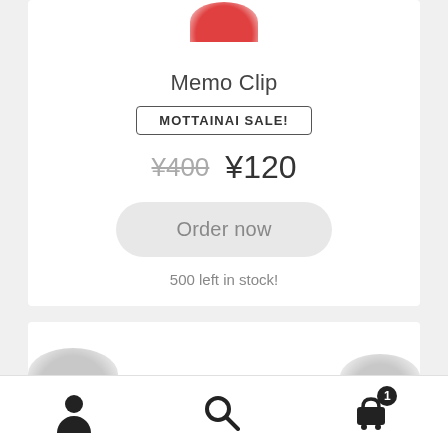[Figure (photo): Partial red rounded object visible at top of product card]
Memo Clip
MOTTAINAI SALE!
¥400  ¥120
Order now
500 left in stock!
[Figure (photo): Bottom of a second product card with gray rounded objects partially visible]
Navigation bar with person icon, search icon, and cart icon with badge showing 1